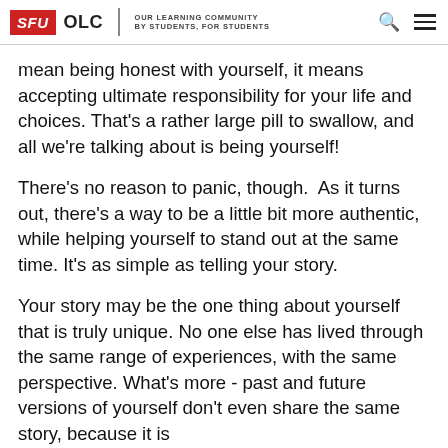SFU OLC | OUR LEARNING COMMUNITY BY STUDENTS, FOR STUDENTS
mean being honest with yourself, it means accepting ultimate responsibility for your life and choices. That's a rather large pill to swallow, and all we're talking about is being yourself!
There's no reason to panic, though.  As it turns out, there's a way to be a little bit more authentic, while helping yourself to stand out at the same time. It's as simple as telling your story.
Your story may be the one thing about yourself that is truly unique. No one else has lived through the same range of experiences, with the same perspective. What's more - past and future versions of yourself don't even share the same story, because it is